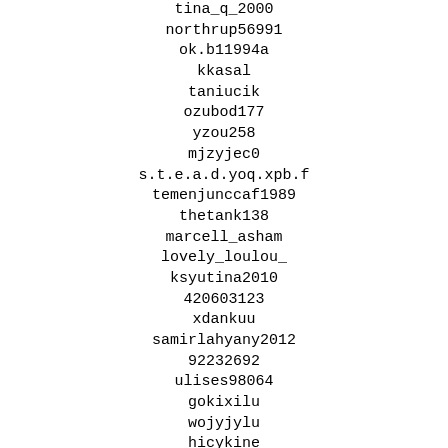mingl_...
tina_q_2000
northrup56991
ok.b11994a
kkasal
taniucik
ozubod177
yzou258
mjzyjec0
s.t.e.a.d.yoq.xpb.f
temenjunccaf1989
thetank138
marcell_asham
lovely_loulou_
ksyutina2010
420603123
xdankuu
samirlahyany2012
92232692
ulises98064
gokixilu
wojyjylu
hicykine
wdykijaan
apontearturo
manish67395
kit10611
synthesizingbrut
titus40583
votstartiap
samuele43044